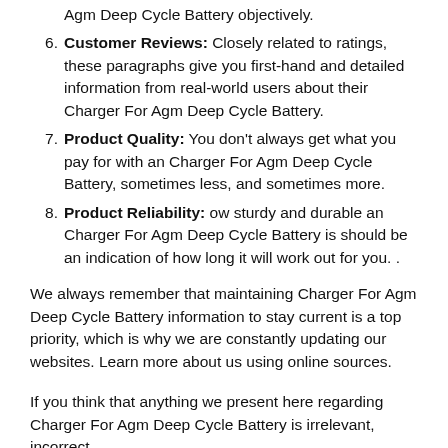Agm Deep Cycle Battery objectively.
6. Customer Reviews: Closely related to ratings, these paragraphs give you first-hand and detailed information from real-world users about their Charger For Agm Deep Cycle Battery.
7. Product Quality: You don't always get what you pay for with an Charger For Agm Deep Cycle Battery, sometimes less, and sometimes more.
8. Product Reliability: ow sturdy and durable an Charger For Agm Deep Cycle Battery is should be an indication of how long it will work out for you. .
We always remember that maintaining Charger For Agm Deep Cycle Battery information to stay current is a top priority, which is why we are constantly updating our websites. Learn more about us using online sources.
If you think that anything we present here regarding Charger For Agm Deep Cycle Battery is irrelevant, incorrect,